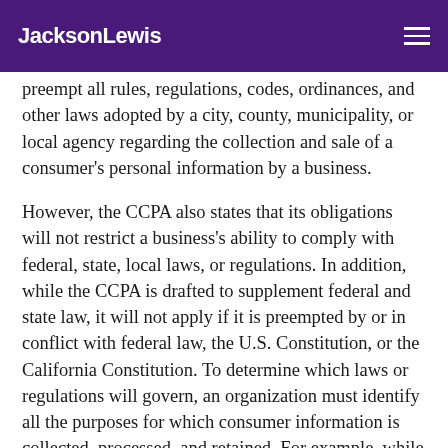JacksonLewis
preempt all rules, regulations, codes, ordinances, and other laws adopted by a city, county, municipality, or local agency regarding the collection and sale of a consumer’s personal information by a business.
However, the CCPA also states that its obligations will not restrict a business’s ability to comply with federal, state, local laws, or regulations. In addition, while the CCPA is drafted to supplement federal and state law, it will not apply if it is preempted by or in conflict with federal law, the U.S. Constitution, or the California Constitution. To determine which laws or regulations will govern, an organization must identify all the purposes for which consumer information is collected, processed, and retained. For example, while the CCPA includes a carve out for protected health information collected by HIPAA-covered entities and business associates, this is not as broad as it appears. Covered entities and business associates that are